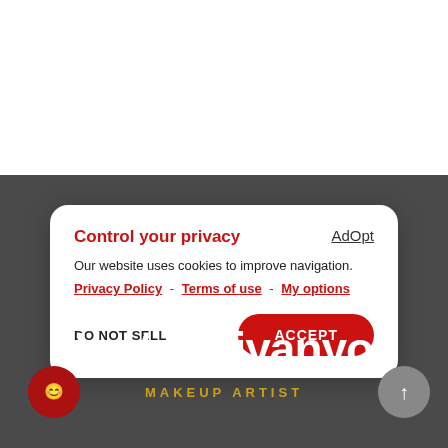[Figure (screenshot): Website screenshot showing a cookie consent modal overlay on a dark background. The modal has the title 'Control your privacy' in red, body text about cookies, links for Privacy Policy, Terms of use, My options, and two buttons: DO NOT SELL and ACCEPT. Below the modal is a website header with the name 'Ianto Wiyanyo' and subtitle 'MAKEUP ARTIST' on a dark background, with circular icon buttons on left and right.]
Control your privacy
Our website uses cookies to improve navigation.
Privacy Policy - Terms of use - My options
DO NOT SELL
ACCEPT
Ianto Wiyanyo
MAKEUP ARTIST